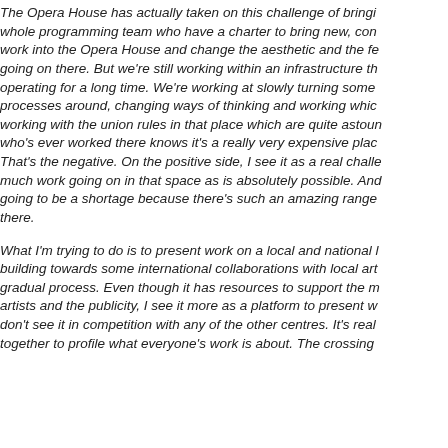The Opera House has actually taken on this challenge of bringi... whole programming team who have a charter to bring new, con... work into the Opera House and change the aesthetic and the fe... going on there. But we're still working within an infrastructure th... operating for a long time. We're working at slowly turning some processes around, changing ways of thinking and working whic... working with the union rules in that place which are quite astoun... who's ever worked there knows it's a really very expensive plac... That's the negative. On the positive side, I see it as a real challe... much work going on in that space as is absolutely possible. And... going to be a shortage because there's such an amazing range there.
What I'm trying to do is to present work on a local and national l... building towards some international collaborations with local art... gradual process. Even though it has resources to support the m... artists and the publicity, I see it more as a platform to present w... don't see it in competition with any of the other centres. It's real... together to profile what everyone's work is about. The crossing...